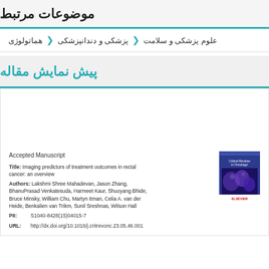موضوعات مرتبط
علوم پزشکی و سلامت > پزشکی و دندانپزشکی > هماتولوژی
پیش نمایش مقاله
Accepted Manuscript

Title: Imaging predictors of treatment outcomes in rectal cancer: an overview

Authors: Lakshmi Shree Mahadevan, Jason Zhang, Bhanuprased Venkatesula, Harmeet Kaur, Shuoyang Bhide, Bruce Minsky, William Chu, Martyn Itman, Celia A. van der Heide, Benkalien van Trikm, Sunil Sreshnas, Wilson Hall

PII: S1040-8428(15)04015-7
URL: http://dx.doi.org/10.1016/j.critrevonc.23.05.46.001